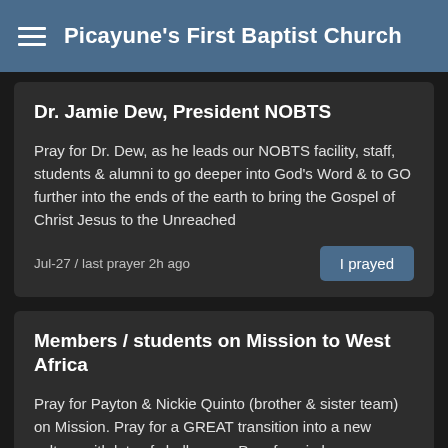Picayune's First Baptist Church
Dr. Jamie Dew, President NOBTS
Pray for Dr. Dew, as he leads our NOBTS facility, staff, students & alumni to go deeper into God's Word & to GO further into the ends of the earth to bring the Gospel of Christ Jesus to the Unreached
Jul-27 / last prayer 2h ago
Members / students on Mission to West Africa
Pray for Payton & Nickie Quinto (brother & sister team) on Mission. Pray for a GREAT transition into a new culture with lots of challenges. Pray for wisdom, patience, peace, safety & God's favor.